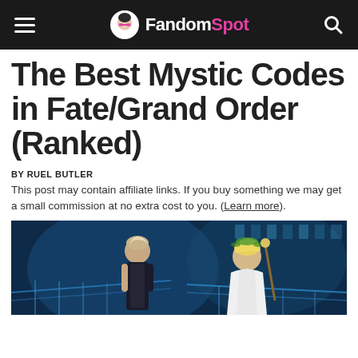FandomSpot
The Best Mystic Codes in Fate/Grand Order (Ranked)
BY RUEL BUTLER
This post may contain affiliate links. If you buy something we may get a small commission at no extra cost to you. (Learn more).
[Figure (illustration): Anime-style illustration showing two characters from Fate/Grand Order against a blue-lit background with architectural elements]